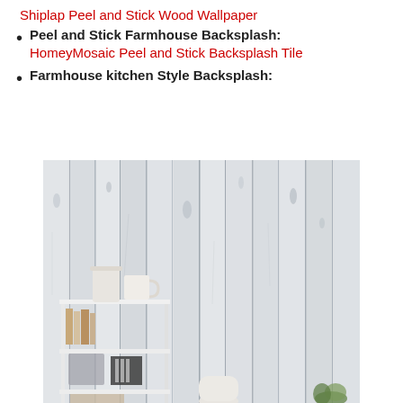Shiplap Peel and Stick Wood Wallpaper
Peel and Stick Farmhouse Backsplash: HomeyMosaic Peel and Stick Backsplash Tile
Farmhouse kitchen Style Backsplash:
[Figure (photo): A farmhouse-style room with white shiplap wood wallpaper on the wall, featuring a white metal shelving unit with books, a white ceramic jug, a mug, decorative items, and a small plant in the foreground.]